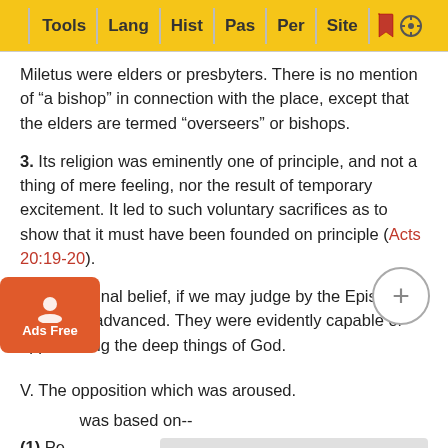Tools | Lang | Hist | Pas | Per | Site
Miletus were elders or presbyters. There is no mention of “a bishop” in connection with the place, except that the elders are termed “oveseers” or bishops.
3. Its religion was eminently one of principle, and not a thing of mere feeling, nor the result of temporary excitement. It led to such voluntary sacrifices as to show that it must have been founded on principle (Acts 20:19-20).
4. Its doctrinal belief, if we may judge by the Epistle, was most advanced. They were evidently capable of appreciating the deep things of God.
V. The opposition which was aroused.
was based on--
(1) Pe
(2)